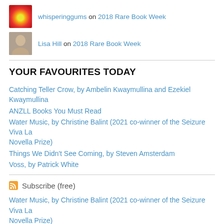whisperinggums on 2018 Rare Book Week
Lisa Hill on 2018 Rare Book Week
YOUR FAVOURITES TODAY
Catching Teller Crow, by Ambelin Kwaymullina and Ezekiel Kwaymullina
ANZLL Books You Must Read
Water Music, by Christine Balint (2021 co-winner of the Seizure Viva La Novella Prize)
Things We Didn't See Coming, by Steven Amsterdam
Voss, by Patrick White
Subscribe (free)
Water Music, by Christine Balint (2021 co-winner of the Seizure Viva La Novella Prize)
Lily, a Tale of Revenge, by Rose Tremain